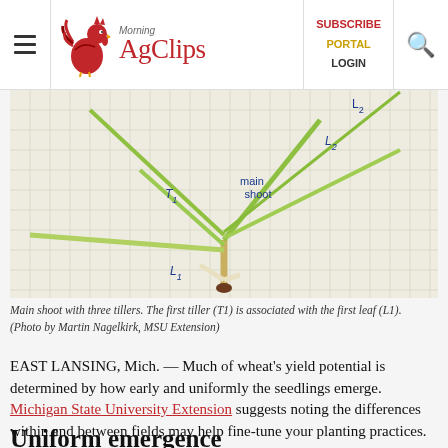Morning AgClips | SUBSCRIBE PORTAL LOGIN
[Figure (photo): Wheat plant main shoot with three tillers laid out on graph paper, labeled with handwritten notes: T1, main shoot, L1, L2]
Main shoot with three tillers. The first tiller (T1) is associated with the first leaf (L1). (Photo by Martin Nagelkirk, MSU Extension)
EAST LANSING, Mich. — Much of wheat's yield potential is determined by how early and uniformly the seedlings emerge. Michigan State University Extension suggests noting the differences within and between fields may help fine-tune your planting practices.
Uniform emergence